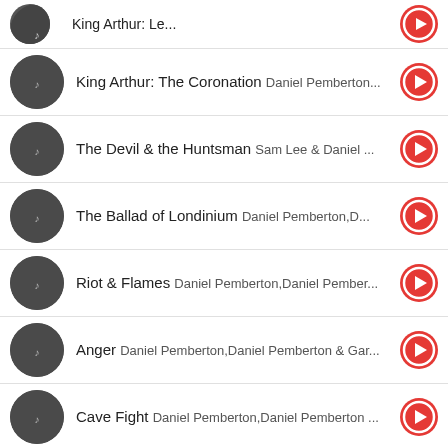King Arthur: The Coronation Daniel Pemberton...
The Devil & the Huntsman Sam Lee & Daniel ...
The Ballad of Londinium Daniel Pemberton,D...
Riot & Flames Daniel Pemberton,Daniel Pember...
Anger Daniel Pemberton,Daniel Pemberton & Gar...
Cave Fight Daniel Pemberton,Daniel Pemberton ...
Confrontation with the Common Man Da...
The Devil & the Daughter Daniel Pemberton,D...
[Figure (infographic): Advertisement banner for Hair Cuttery: Book a Same Day Appointment]